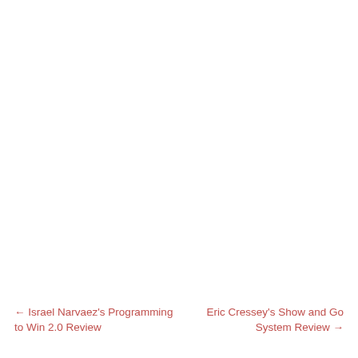← Israel Narvaez's Programming to Win 2.0 Review
Eric Cressey's Show and Go System Review →